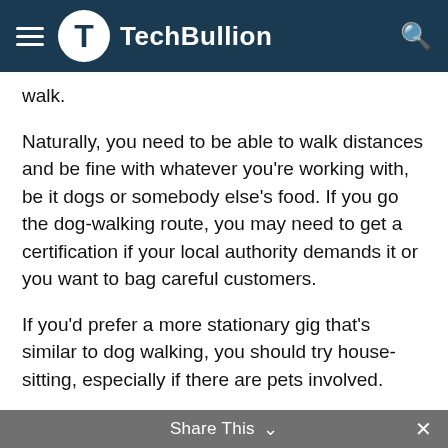TechBullion
walk.
Naturally, you need to be able to walk distances and be fine with whatever you're working with, be it dogs or somebody else's food. If you go the dog-walking route, you may need to get a certification if your local authority demands it or you want to bag careful customers.
If you'd prefer a more stationary gig that's similar to dog walking, you should try house-sitting, especially if there are pets involved.
3. Have An Opinion
If you have strong opinions, you should look at participating in online surveys. You'll get paid more if you do more surveys, so you'll have to put the time in to